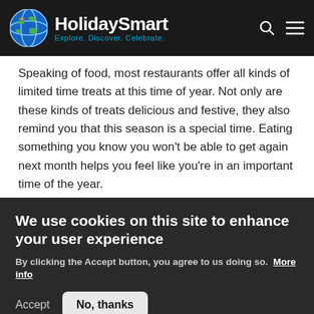HolidaySmart — Explore. Discover. Celebrate.
Speaking of food, most restaurants offer all kinds of limited time treats at this time of year. Not only are these kinds of treats delicious and festive, they also remind you that this season is a special time. Eating something you know you won't be able to get again next month helps you feel like you're in an important time of the year.
5. Listen to Christmas music
[Figure (photo): Close-up photo of green pine/fir tree branches]
We use cookies on this site to enhance your user experience
By clicking the Accept button, you agree to us doing so. More info